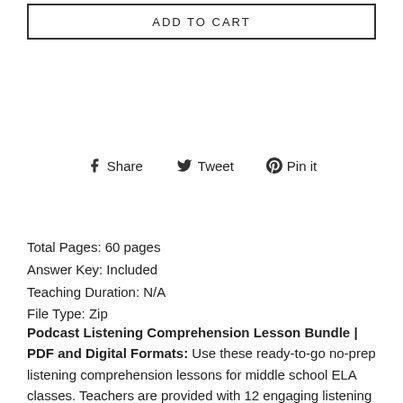[Figure (other): ADD TO CART button with border]
[Figure (other): Social sharing bar with Facebook Share, Twitter Tweet, and Pinterest Pin it icons]
Total Pages: 60 pages
Answer Key: Included
Teaching Duration: N/A
File Type: Zip
Podcast Listening Comprehension Lesson Bundle | PDF and Digital Formats: Use these ready-to-go no-prep listening comprehension lessons for middle school ELA classes. Teachers are provided with 12 engaging listening comprehension lessons based on high-interest podcast